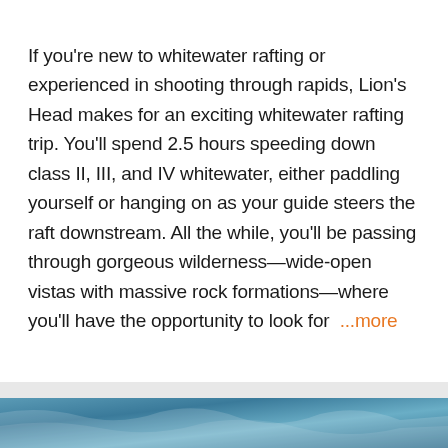If you're new to whitewater rafting or experienced in shooting through rapids, Lion's Head makes for an exciting whitewater rafting trip. You'll spend 2.5 hours speeding down class II, III, and IV whitewater, either paddling yourself or hanging on as your guide steers the raft downstream. All the while, you'll be passing through gorgeous wilderness—wide-open vistas with massive rock formations—where you'll have the opportunity to look for  ...more
Points of Interest
View All
[Figure (photo): Partial view of a water/rafting scene at the bottom of the page]